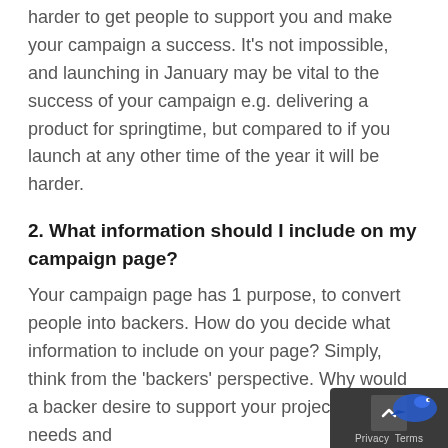harder to get people to support you and make your campaign a success. It's not impossible, and launching in January may be vital to the success of your campaign e.g. delivering a product for springtime, but compared to if you launch at any other time of the year it will be harder.
2. What information should I include on my campaign page?
Your campaign page has 1 purpose, to convert people into backers. How do you decide what information to include on your page? Simply, think from the 'backers' perspective. Why would a backer desire to support your project? What needs and